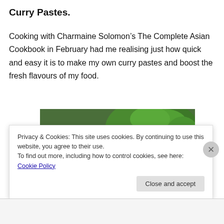Curry Pastes.
Cooking with Charmaine Solomon’s The Complete Asian Cookbook in February had me realising just how quick and easy it is to make my own curry pastes and boost the fresh flavours of my food.
[Figure (photo): A stone mortar and pestle containing green curry paste, surrounded by fresh herbs including coriander and green chillies, on a wooden board.]
Privacy & Cookies: This site uses cookies. By continuing to use this website, you agree to their use.
To find out more, including how to control cookies, see here: Cookie Policy
Close and accept